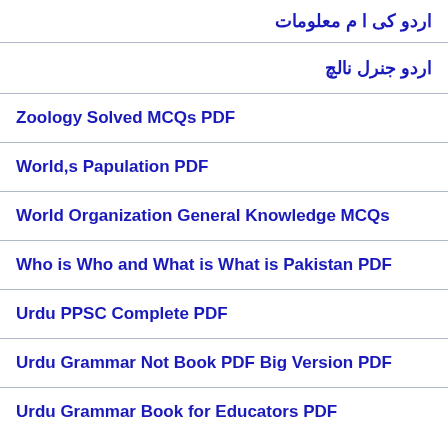اردو کی ا م معلومات
اردو جنرل نالچ
Zoology Solved MCQs PDF
World,s Papulation PDF
World Organization General Knowledge MCQs
Who is Who and What is What is Pakistan PDF
Urdu PPSC Complete PDF
Urdu Grammar Not Book PDF Big Version PDF
Urdu Grammar Book for Educators PDF